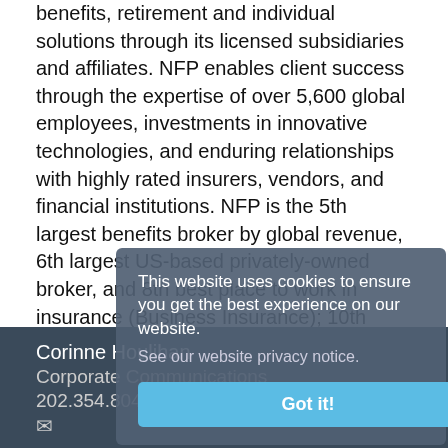benefits, retirement and individual solutions through its licensed subsidiaries and affiliates. NFP enables client success through the expertise of over 5,600 global employees, investments in innovative technologies, and enduring relationships with highly rated insurers, vendors, and financial institutions. NFP is the 5th largest benefits broker by global revenue, 6th largest US-based privately-owned broker, and 8th best place to work in insurance (Business Insurance); 10th largest property and casualty agency (Insurance Journal); and 12th largest global insurance broker (Best's Review).
Visit NFP.com to discover how NFP empowers clients to meet their goals.
Media Contact
Corinne Houlihan
Corporate Communications
202.354.8044
✉
[Figure (other): Cookie consent popup overlay: 'This website uses cookies to ensure you get the best experience on our website. See our website privacy notice.' with a 'Got it!' button.]